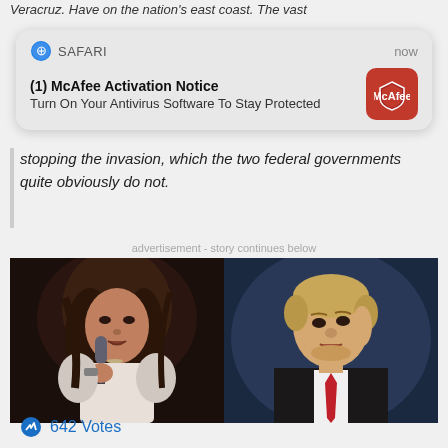Veracruz. Have on the nation's east coast. The vast
[Figure (screenshot): Safari browser notification overlay: '(1) McAfee Activation Notice - Turn On Your Antivirus Software To Stay Protected' with McAfee logo icon and 'now' timestamp]
stopping the invasion, which the two federal governments quite obviously do not.
advertisement - story continues below
[Figure (photo): Side-by-side photos of two political figures: a woman with a microphone on the left, and a man in a dark suit with a red tie on the right]
642 Votes